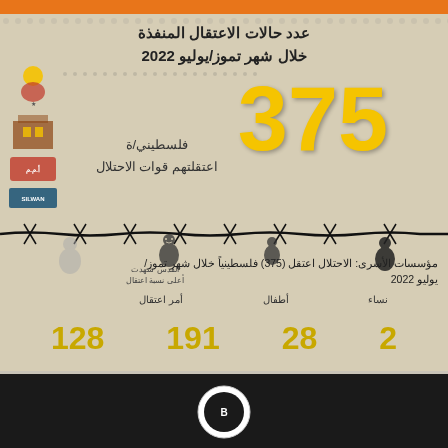[Figure (infographic): Arabic-language infographic about Palestinian detentions during July/Tammuz 2022. Shows 375 Palestinians arrested by occupation forces: 128 arrest orders, 191 men, 28 children, 2 women. Jerusalem had the highest arrest rate. Published by prisoner support institutions.]
مؤسسات الأسرى: الاحتلال اعتقل (375) فلسطينياً خلال شهر تموز/ يوليو 2022
128  191  28  2